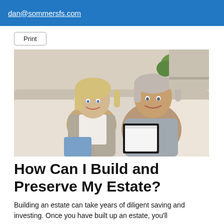dan@sommersfs.com
Print
[Figure (photo): An older couple, a smiling blonde woman and a grey-haired man, sitting together on a couch and looking at the camera. The man is holding an open binder/book.]
How Can I Build and Preserve My Estate?
Building an estate can take years of diligent saving and investing. Once you have built up an estate, you'll